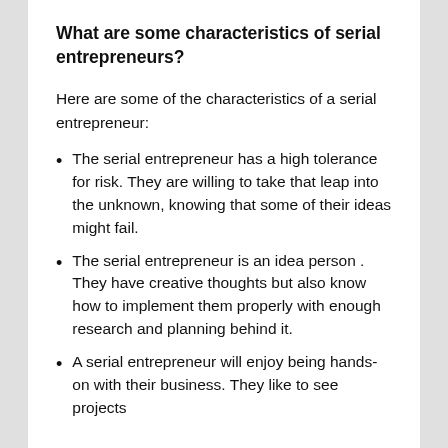What are some characteristics of serial entrepreneurs?
Here are some of the characteristics of a serial entrepreneur:
The serial entrepreneur has a high tolerance for risk. They are willing to take that leap into the unknown, knowing that some of their ideas might fail.
The serial entrepreneur is an idea person . They have creative thoughts but also know how to implement them properly with enough research and planning behind it.
A serial entrepreneur will enjoy being hands-on with their business. They like to see projects